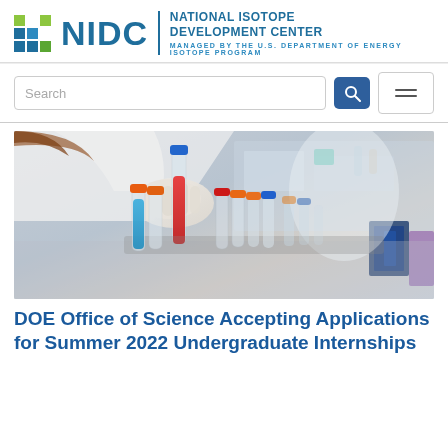[Figure (logo): NIDC National Isotope Development Center logo with colored grid squares and text. Managed by the U.S. Department of Energy Isotope Program.]
[Figure (photo): Laboratory photo showing a gloved hand handling a test tube with red liquid among multiple test tubes with colorful caps (blue, orange, red) in a lab setting.]
DOE Office of Science Accepting Applications for Summer 2022 Undergraduate Internships